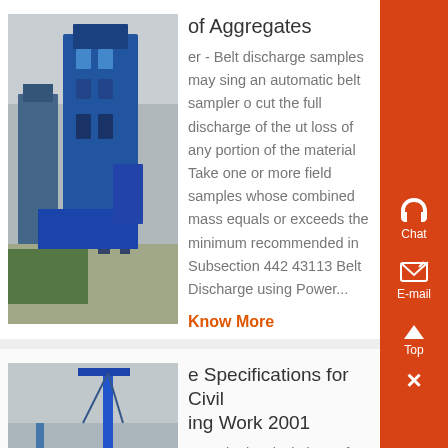[Figure (photo): Industrial aggregate processing equipment, large blue machinery structure outdoors]
of Aggregates
er - Belt discharge samples may sing an automatic belt sampler o cut the full discharge of the ut loss of any portion of the material Take one or more field samples whose combined mass equals or exceeds the minimum recommended in Subsection 442 43113 Belt Discharge using Power...
Know More
[Figure (photo): Civil engineering construction equipment, drilling rig and machinery on a construction site]
e Specifications for Civil ing Work 2001
ng Submit calculations of tendon ces, extensions and losses for sing stage , Lay the bags of fibres